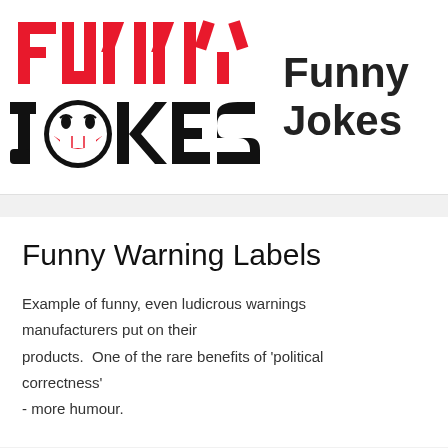[Figure (logo): Funny Jokes logo with red block letters FUNNY above black block letters JOKES with a laughing face emoji replacing the O in JOKES]
Funny Jokes
Funny Warning Labels
Example of funny, even ludicrous warnings manufacturers put on their products.  One of the rare benefits of 'political correctness'
- more humour.